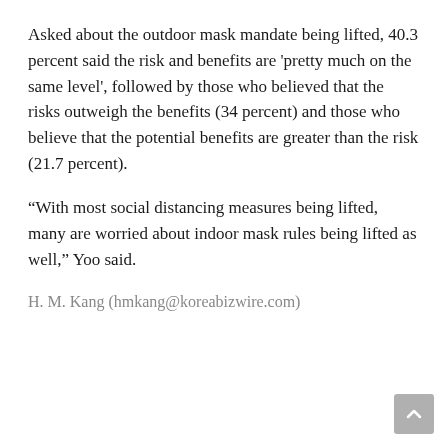Asked about the outdoor mask mandate being lifted, 40.3 percent said the risk and benefits are 'pretty much on the same level', followed by those who believed that the risks outweigh the benefits (34 percent) and those who believe that the potential benefits are greater than the risk (21.7 percent).
“With most social distancing measures being lifted, many are worried about indoor mask rules being lifted as well,” Yoo said.
H. M. Kang (hmkang@koreabizwire.com)